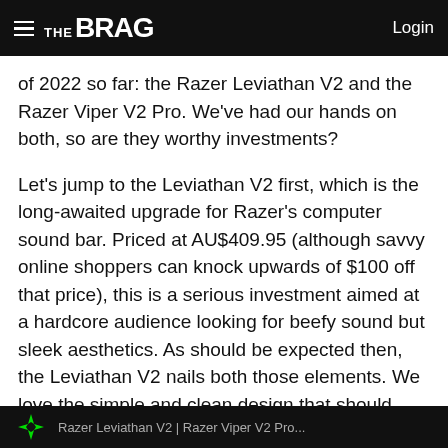THE BRAG | Login
of 2022 so far: the Razer Leviathan V2 and the Razer Viper V2 Pro. We've had our hands on both, so are they worthy investments?
Let's jump to the Leviathan V2 first, which is the long-awaited upgrade for Razer's computer sound bar. Priced at AU$409.95 (although savvy online shoppers can knock upwards of $100 off that price), this is a serious investment aimed at a hardcore audience looking for beefy sound but sleek aesthetics. As should be expected then, the Leviathan V2 nails both those elements. We love the simple and clean design that should help maximise desk space by slotting under your average monitor. Even Razer's signature RGB lightning is well-implemented, neatly shining underneath the base of the unit.
[Figure (photo): Bottom dark bar with Razer logo and partial text visible]